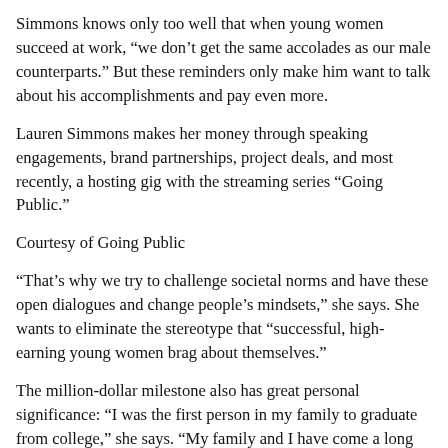Simmons knows only too well that when young women succeed at work, “we don’t get the same accolades as our male counterparts.” But these reminders only make him want to talk about his accomplishments and pay even more.
Lauren Simmons makes her money through speaking engagements, brand partnerships, project deals, and most recently, a hosting gig with the streaming series “Going Public.”
Courtesy of Going Public
“That’s why we try to challenge societal norms and have these open dialogues and change people’s mindsets,” she says. She wants to eliminate the stereotype that “successful, high-earning young women brag about themselves.”
The million-dollar milestone also has great personal significance: “I was the first person in my family to graduate from college,” she says. “My family and I have come a long way, and I’m super grateful.”
Look forward
Simmons could not have predicted how much her life would